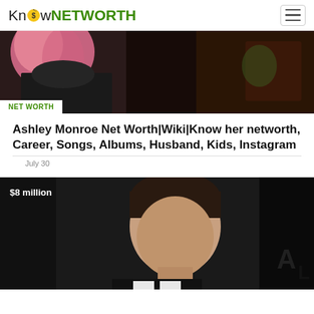KnowNETWORTH
[Figure (photo): Person with pink hair wearing black leather jacket, partially cropped image at top of page]
NET WORTH
Ashley Monroe Net Worth|Wiki|Know her networth, Career, Songs, Albums, Husband, Kids, Instagram
July 30
[Figure (photo): Man with dark hair against dark background, with $8 million text overlay in white]